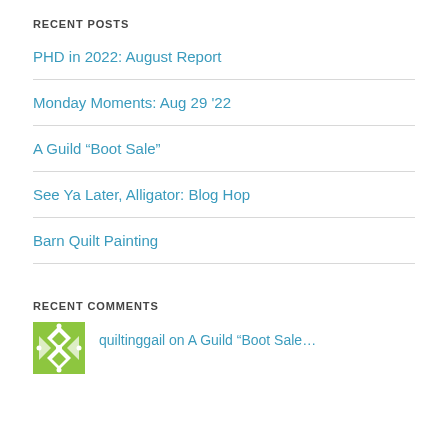RECENT POSTS
PHD in 2022: August Report
Monday Moments: Aug 29 '22
A Guild “Boot Sale”
See Ya Later, Alligator: Blog Hop
Barn Quilt Painting
RECENT COMMENTS
quiltinggail on A Guild “Boot Sale…